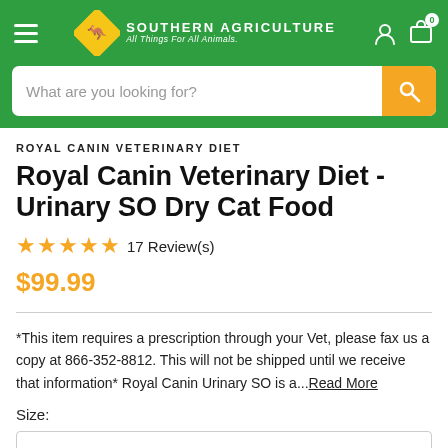[Figure (logo): Southern Agriculture logo with yellow diamond kangaroo icon and white text 'SOUTHERN AGRICULTURE All Things For All Animals.' on green header background]
What are you looking for?
ROYAL CANIN VETERINARY DIET
Royal Canin Veterinary Diet - Urinary SO Dry Cat Food
★★★★★ 17 Review(s)
$99.99
*This item requires a prescription through your Vet, please fax us a copy at 866-352-8812. This will not be shipped until we receive that information* Royal Canin Urinary SO is a... Read More
Size: